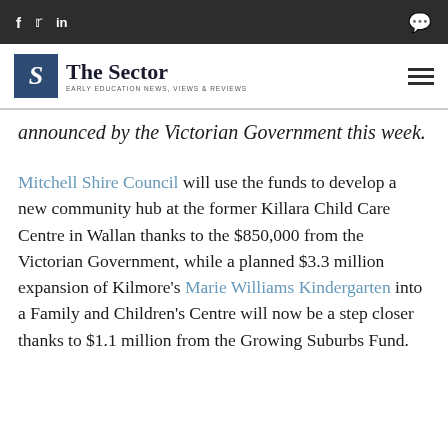f  y  in  [comment icon]
The Sector — EARLY EDUCATION NEWS, VIEWS & REVIEWS
announced by the Victorian Government this week.
Mitchell Shire Council will use the funds to develop a new community hub at the former Killara Child Care Centre in Wallan thanks to the $850,000 from the Victorian Government, while a planned $3.3 million expansion of Kilmore's Marie Williams Kindergarten into a Family and Children's Centre will now be a step closer thanks to $1.1 million from the Growing Suburbs Fund.